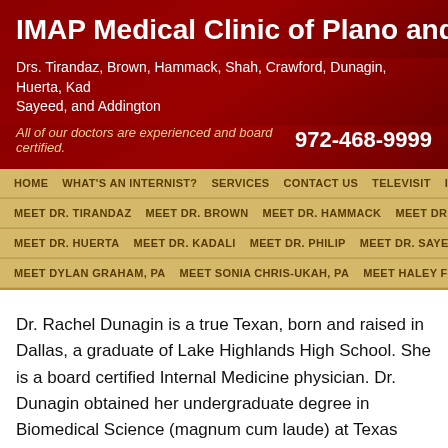IMAP Medical Clinic of Plano and Frisco
Drs. Tirandaz, Brown, Hammack, Shah, Crawford, Dunagin, Huerta, Kadali, Sayeed, and Addington
All of our doctors are experienced and board certified.   972-468-9999
HOME   WHAT'S AN INTERNIST?   SERVICES   CONTACT US   TELEVISIT   INS
MEET DR. TIRANDAZ   MEET DR. BROWN   MEET DR. HAMMACK   MEET DR. S
MEET DR. HUERTA   MEET DR. KADALI   MEET DR. PHILIP   MEET DR. SAYEED
MEET DYLAN GRAHAM, PA   MEET SONIA CHRIS-UKAH, PA   MEET HALEY FOU
Dr. Rachel Dunagin is a true Texan, born and raised in Dallas, a graduate of Lake Highlands High School. She is a board certified Internal Medicine physician. Dr. Dunagin obtained her undergraduate degree in Biomedical Science (magnum cum laude) at Texas A&M University at College Station. (Whoop!) She then attended medical school at the University of Texas Health Science Center at San Antonio followed by her internal medicine residency at Texas Health Presbyterian Hospital of Dallas.